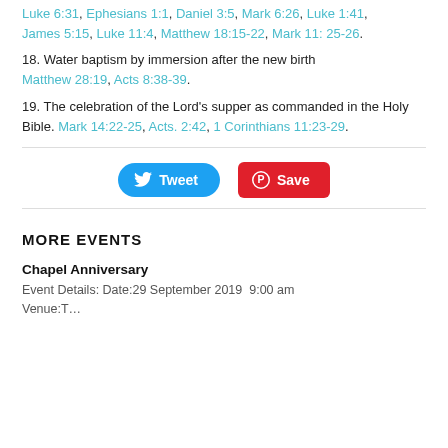Luke 6:31, Ephesians 1:1, Daniel 3:5, Mark 6:26, Luke 1:41, James 5:15, Luke 11:4, Matthew 18:15-22, Mark 11: 25-26.
18. Water baptism by immersion after the new birth Matthew 28:19, Acts 8:38-39.
19. The celebration of the Lord's supper as commanded in the Holy Bible. Mark 14:22-25, Acts. 2:42, 1 Corinthians 11:23-29.
[Figure (other): Tweet and Save social sharing buttons]
MORE EVENTS
Chapel Anniversary
Event Details: Date:29 September 2019  9:00 am Venue:T…